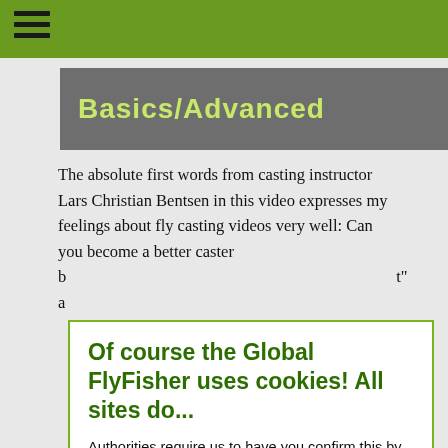[Figure (screenshot): Gray banner image with light green text reading 'Basics/Advanced']
The absolute first words from casting instructor Lars Christian Bentsen in this video expresses my feelings about fly casting videos very well: Can you become a better caster b... ...t" a...
Of course the Global FlyFisher uses cookies! All sites do...
Authorities require us to have you confirm this by clicking any link on this page. You are then giving your consent for us to set cookies. No cookies, no GFF!
More about privacy and cookies
OK, I agree